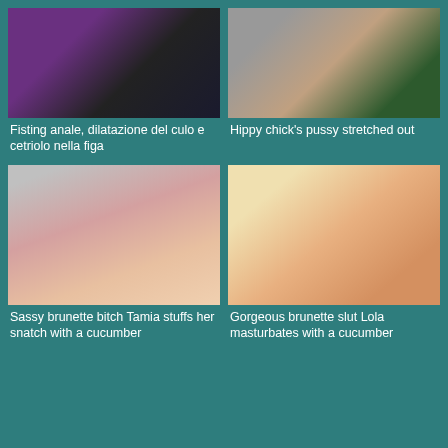[Figure (photo): Thumbnail image top left - dark toned adult content]
Fisting anale, dilatazione del culo e cetriolo nella figa
[Figure (photo): Thumbnail image top right - outdoor adult content]
Hippy chick's pussy stretched out
[Figure (photo): Thumbnail image middle left - brunette woman adult content]
Sassy brunette bitch Tamia stuffs her snatch with a cucumber
[Figure (photo): Thumbnail image middle right - adult content on striped surface]
Gorgeous brunette slut Lola masturbates with a cucumber
[Figure (photo): Thumbnail image bottom left - teal placeholder]
[Figure (photo): Thumbnail image bottom right - teal placeholder]